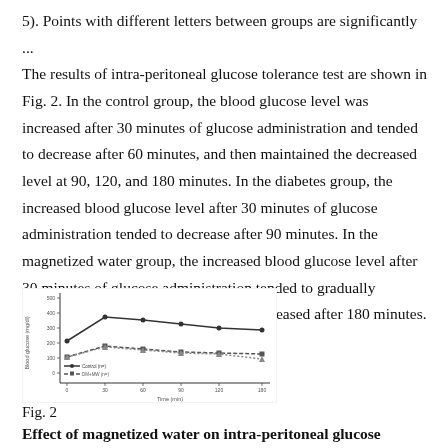5). Points with different letters between groups are significantly ... The results of intra-peritoneal glucose tolerance test are shown in Fig. 2. In the control group, the blood glucose level was increased after 30 minutes of glucose administration and tended to decrease after 60 minutes, and then maintained the decreased level at 90, 120, and 180 minutes. In the diabetes group, the increased blood glucose level after 30 minutes of glucose administration tended to decrease after 90 minutes. In the magnetized water group, the increased blood glucose level after 30 minutes of glucose administration tended to gradually decrease, and then was significantly decreased after 180 minutes.
[Figure (line-chart): Line chart showing intra-peritoneal glucose tolerance test results for control, diabetes, and magnetized water groups over time points 0, 30, 60, 90, 120, 180 minutes.]
Fig. 2
Effect of magnetized water on intra-peritoneal glucose